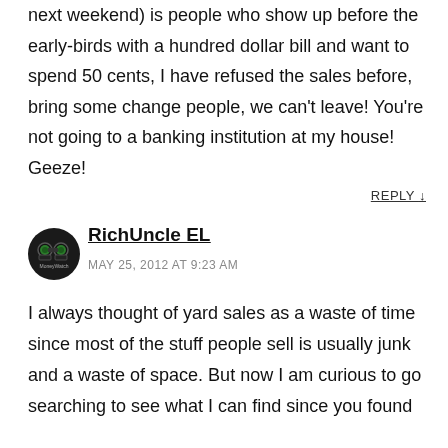next weekend) is people who show up before the early-birds with a hundred dollar bill and want to spend 50 cents, I have refused the sales before, bring some change people, we can't leave! You're not going to a banking institution at my house! Geeze!
REPLY ↓
[Figure (logo): MoneyWatch avatar icon — binoculars on dark circular background]
RichUncle EL
MAY 25, 2012 AT 9:23 AM
I always thought of yard sales as a waste of time since most of the stuff people sell is usually junk and a waste of space. But now I am curious to go searching to see what I can find since you found